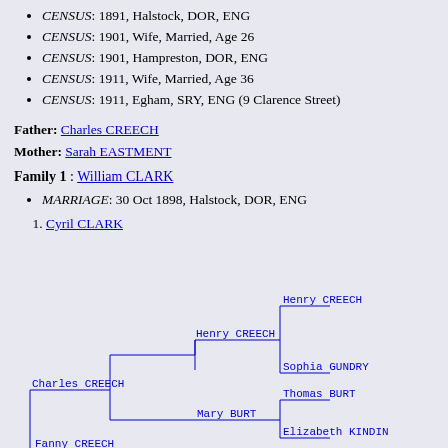CENSUS: 1891, Halstock, DOR, ENG
CENSUS: 1901, Wife, Married, Age 26
CENSUS: 1901, Hampreston, DOR, ENG
CENSUS: 1911, Wife, Married, Age 36
CENSUS: 1911, Egham, SRY, ENG (9 Clarence Street)
Father: Charles CREECH
Mother: Sarah EASTMENT
Family 1 : William CLARK
MARRIAGE: 30 Oct 1898, Halstock, DOR, ENG
Cyril CLARK
[Figure (other): Genealogical pedigree tree showing Charles CREECH connected to Henry CREECH and Mary BURT, Henry CREECH connected to Henry CREECH and Sophia GUNDRY, Mary BURT connected to Thomas BURT and Elizabeth KINDIN, and Fanny CREECH at bottom left]